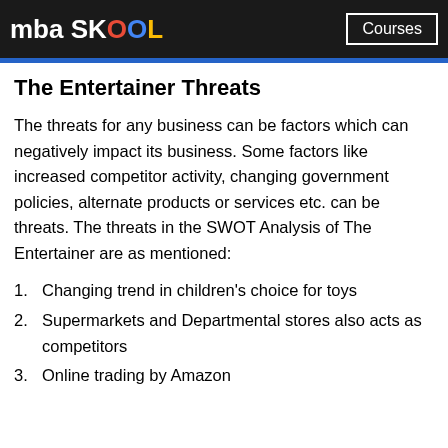mba SKOOL | Courses
The Entertainer Threats
The threats for any business can be factors which can negatively impact its business. Some factors like increased competitor activity, changing government policies, alternate products or services etc. can be threats. The threats in the SWOT Analysis of The Entertainer are as mentioned:
1. Changing trend in children’s choice for toys
2. Supermarkets and Departmental stores also acts as competitors
3. Online trading by Amazon